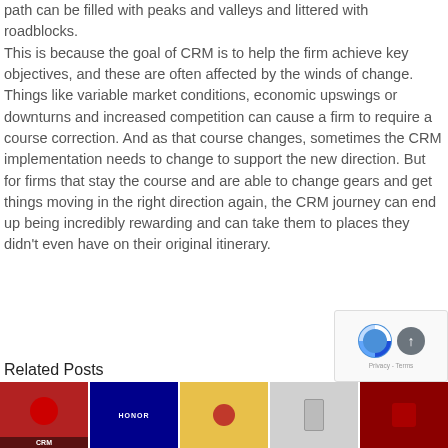path can be filled with peaks and valleys and littered with roadblocks.
This is because the goal of CRM is to help the firm achieve key objectives, and these are often affected by the winds of change. Things like variable market conditions, economic upswings or downturns and increased competition can cause a firm to require a course correction. And as that course changes, sometimes the CRM implementation needs to change to support the new direction. But for firms that stay the course and are able to change gears and get things moving in the right direction again, the CRM journey can end up being incredibly rewarding and can take them to places they didn't even have on their original itinerary.
Related Posts
[Figure (photo): Five related post thumbnail images shown in a row at the bottom of the article]